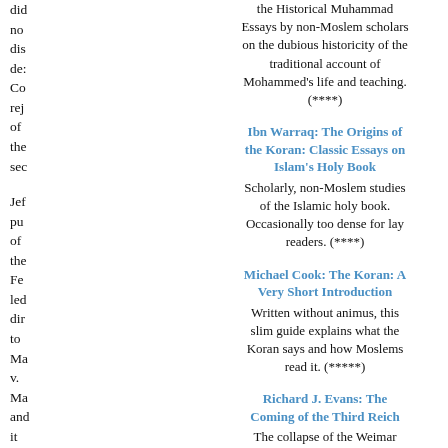did not dis- des- Co- rej- of the sec-
Jet- pu- of the Fe- led dir- to Ma v. Ma and it did not en- eve- aft- he left offi-
As for the
the Historical Muhammad Essays by non-Moslem scholars on the dubious historicity of the traditional account of Mohammed's life and teaching. (****)
Ibn Warraq: The Origins of the Koran: Classic Essays on Islam's Holy Book
Scholarly, non-Moslem studies of the Islamic holy book. Occasionally too dense for lay readers. (****)
Michael Cook: The Koran: A Very Short Introduction
Written without animus, this slim guide explains what the Koran says and how Moslems read it. (*****)
Richard J. Evans: The Coming of the Third Reich
The collapse of the Weimar Republic, 1919-1933. Excellent on the cultural and social roots of the Far Right's ascendancy, less successful as a narrative history. (****)
Michael Oren: Six Days of War: June 1967 and the Making of the Modern Middle East
The definitive account of the